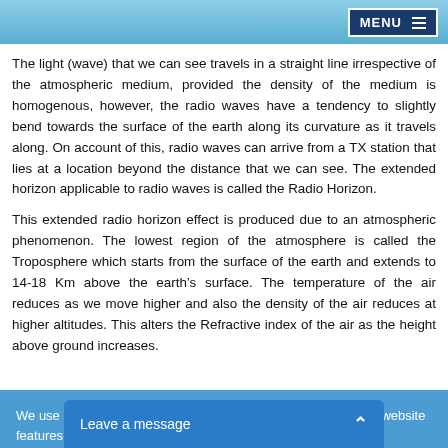MENU
The light (wave) that we can see travels in a straight line irrespective of the atmospheric medium, provided the density of the medium is homogenous, however, the radio waves have a tendency to slightly bend towards the surface of the earth along its curvature as it travels along. On account of this, radio waves can arrive from a TX station that lies at a location beyond the distance that we can see. The extended horizon applicable to radio waves is called the Radio Horizon.
This extended radio horizon effect is produced due to an atmospheric phenomenon. The lowest region of the atmosphere is called the Troposphere which starts from the surface of the earth and extends to 14-18 Km above the earth’s surface. The temperature of the air reduces as we move higher and also the density of the air reduces at higher altitudes. This alters the Refractive index of the air as the height above ground increases.
We use cookies to optimize our website and our service. Some website features may not function optimally without cookies.
Got It!
Leave a message